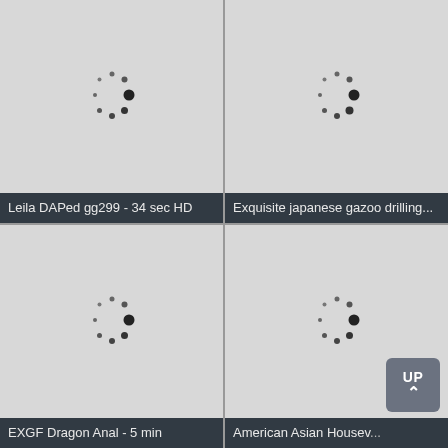[Figure (screenshot): Video thumbnail placeholder with spinner loading indicator]
Leila DAPed gg299 - 34 sec HD
[Figure (screenshot): Video thumbnail placeholder with spinner loading indicator]
Exquisite japanese gazoo drilling...
[Figure (screenshot): Video thumbnail placeholder with spinner loading indicator]
EXGF Dragon Anal - 5 min
[Figure (screenshot): Video thumbnail placeholder with spinner loading indicator, UP button overlay]
American Asian Housev....